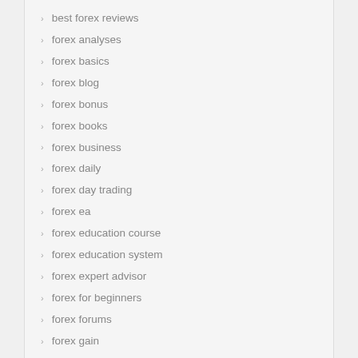best forex reviews
forex analyses
forex basics
forex blog
forex bonus
forex books
forex business
forex daily
forex day trading
forex ea
forex education course
forex education system
forex expert advisor
forex for beginners
forex forums
forex gain
forex guide
forex ideas
forex indicators